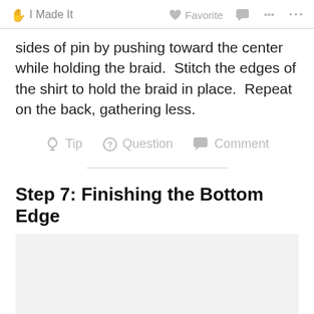I Made It   Favorite   Comment   Share   More
sides of pin by pushing toward the center while holding the braid.  Stitch the edges of the shirt to hold the braid in place.  Repeat on the back, gathering less.
Tip   Question   Comment
Step 7: Finishing the Bottom Edge
[Figure (photo): Light gray placeholder image area for Step 7 photo]